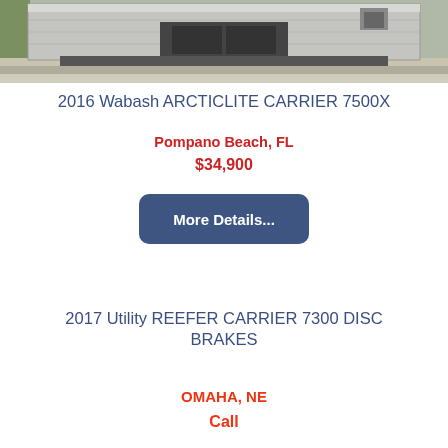[Figure (photo): Rear view of a refrigerated trailer/reefer unit with carrier equipment visible, photographed on a concrete surface with grass visible in background]
2016 Wabash ARCTICLITE CARRIER 7500X
Pompano Beach, FL
$34,900
More Details...
2017 Utility REEFER CARRIER 7300 DISC BRAKES
OMAHA, NE
Call